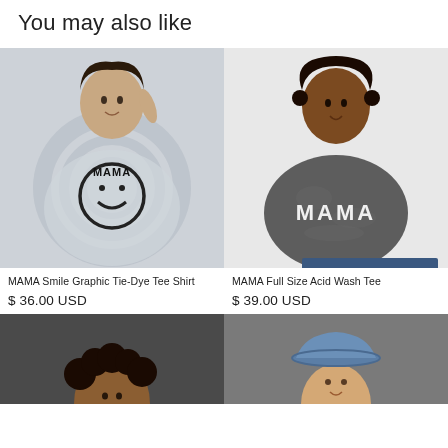You may also like
[Figure (photo): Woman wearing MAMA Smile Graphic Tie-Dye Tee Shirt in light grey tie-dye with smiley face graphic]
MAMA Smile Graphic Tie-Dye Tee Shirt
$ 36.00 USD
[Figure (photo): Plus-size woman wearing MAMA Full Size Acid Wash Tee in dark grey acid wash with MAMA text]
MAMA Full Size Acid Wash Tee
$ 39.00 USD
[Figure (photo): Woman with curly hair, partial product image at bottom of page]
[Figure (photo): Woman wearing denim bucket hat, partial product image at bottom of page]